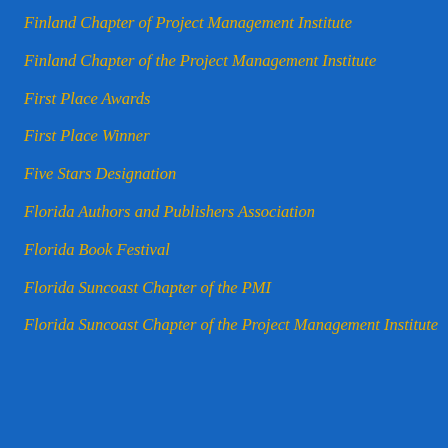Finland Chapter of Project Management Institute
Finland Chapter of the Project Management Institute
First Place Awards
First Place Winner
Five Stars Designation
Florida Authors and Publishers Association
Florida Book Festival
Florida Suncoast Chapter of the PMI
Florida Suncoast Chapter of the Project Management Institute